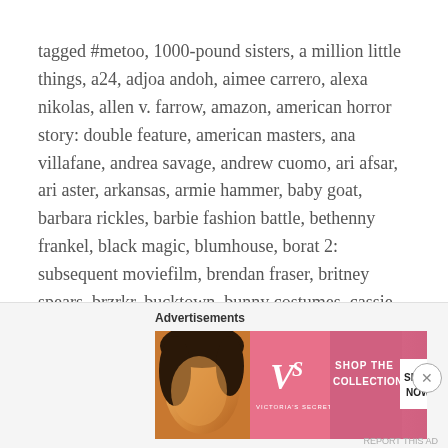tagged #metoo, 1000-pound sisters, a million little things, a24, adjoa andoh, aimee carrero, alexa nikolas, allen v. farrow, amazon, american horror story: double feature, american masters, ana villafane, andrea savage, andrew cuomo, ari afsar, ari aster, arkansas, armie hammer, baby goat, barbara rickles, barbie fashion battle, bethenny frankel, black magic, blumhouse, borat 2: subsequent moviefilm, brendan fraser, britney spears, brzrkr, bucktown, bunny costumes, cassie clare, cbs, charlotte flair, chevy chase, chris fulton, chris webster, chrissie fit, clive owen, conan, concrete cowboy, coronavirus, covid-19, cute animals, danielle bregoli, david dobrik, demi lovato, demian bichir, deshaun watson, devere rogers, doing the most with phoebe robinson, dolly parton: a musicares tribute, donald trump, dr. oz, dr. phil, dr. phillip
Advertisements
[Figure (photo): Victoria's Secret advertisement banner with a woman's face on the left, VS logo in center, 'SHOP THE COLLECTION' text, and 'SHOP NOW' button on the right. Pink gradient background.]